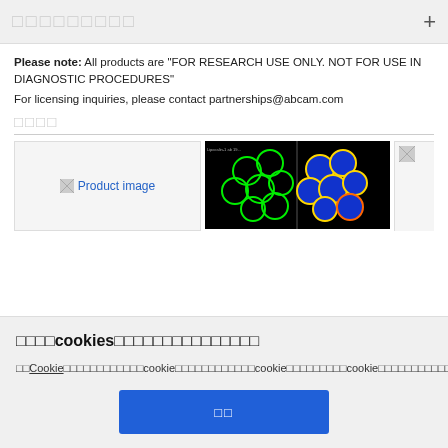□□□□□□□□□ +
Please note: All products are "FOR RESEARCH USE ONLY. NOT FOR USE IN DIAGNOSTIC PROCEDURES"
For licensing inquiries, please contact partnerships@abcam.com
□□□□
[Figure (photo): Product image placeholder (broken image icon + blue link text 'Product image')]
[Figure (photo): Fluorescence microscopy image showing cells stained in green (left panel) and green/blue/orange (right panel) on black background]
[Figure (photo): Partially visible broken image thumbnail]
□□□□cookies□□□□□□□□□□□□□□□
□□□Cookie□□□□□□□□□□□cookie□□□□□□□□□□□□cookie□□□□□□□□□cookie□□□□□□□□□□□□□□cookie□